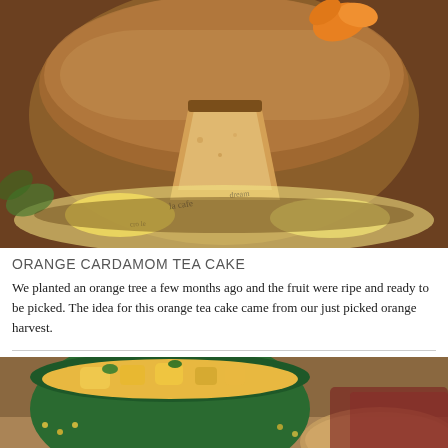[Figure (photo): Close-up photo of an orange cardamom tea cake on a decorative plate, with a slice cut out revealing the moist golden interior. An orange flower petal decorates the top. The cake is dusted with powdered sugar.]
ORANGE CARDAMOM TEA CAKE
We planted an orange tree a few months ago and the fruit were ripe and ready to be picked. The idea for this orange tea cake came from our just picked orange harvest.
[Figure (photo): Photo of a bowl of food, possibly a curry or vegetable dish with yellow/orange coloring, served in a green decorative bowl. The image is partially cropped showing the bottom of the page.]